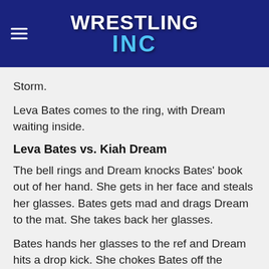Wrestling Inc
Storm.
Leva Bates comes to the ring, with Dream waiting inside.
Leva Bates vs. Kiah Dream
The bell rings and Dream knocks Bates' book out of her hand. She gets in her face and steals her glasses. Bates gets mad and drags Dream to the mat. She takes back her glasses.
Bates hands her glasses to the ref and Dream hits a drop kick. She chokes Bates off the ropes. Dream hits a roundhouse kick to Bates back and slaps her